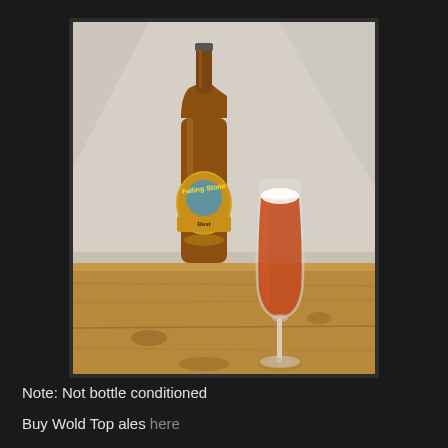[Figure (photo): A brown glass bottle of Falling Stone Best Bitter ale with a label showing 'Falling Stone Best' alongside a stemmed tulip glass filled with amber/red beer with a small white head, both sitting on a wooden surface with a light background.]
Note: Not bottle conditioned
Buy Wold Top ales here